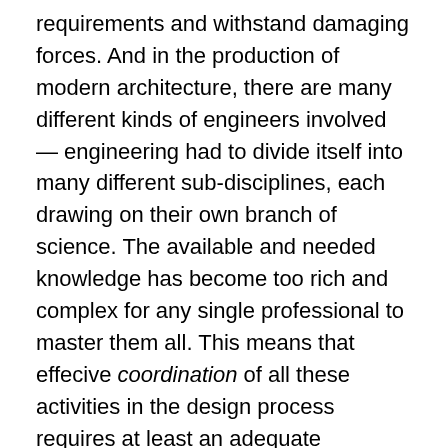requirements and withstand damaging forces. And in the production of modern architecture, there are many different kinds of engineers involved — engineering had to divide itself into many different sub-disciplines, each drawing on their own branch of science. The available and needed knowledge has become too rich and complex for any single professional to master them all. This means that effecive coordination of all these activities in the design process requires at least an adequate understanding of the different engineering branches and their vocabulary, concerns, criteria, to make sense of it all. Ideally. So perhaps it was appropriate for many architecture schools to be located in Institutes of Technology rather that in art schools such as the Beaux Arts?